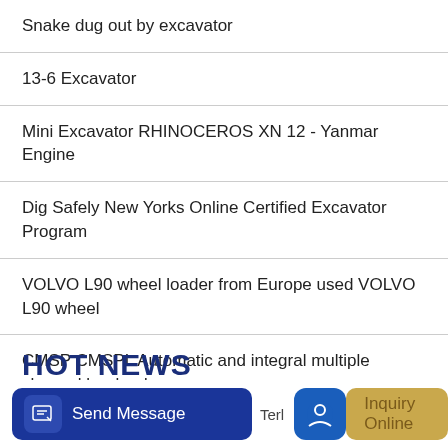Snake dug out by excavator
13-6 Excavator
Mini Excavator RHINOCEROS XN 12 - Yanmar Engine
Dig Safely New Yorks Online Certified Excavator Program
VOLVO L90 wheel loader from Europe used VOLVO L90 wheel
CMSP CMSPL Automatic and integral multiple channel bar loader
HOT NEWS
[Figure (screenshot): Bottom UI bar with Send Message button (dark blue with pencil icon) on the left and Inquiry Online button (blue circle icon with gold label) on the right. Text 'Terl' partially visible between them.]